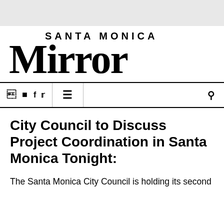[Figure (logo): Santa Monica Mirror newspaper logo with blackletter/Old English style masthead reading 'SANTA MONICA' above 'Mirror']
Navigation bar with Facebook icon, Twitter icon, menu icon (hamburger), and search icon
City Council to Discuss Project Coordination in Santa Monica Tonight:
The Santa Monica City Council is holding its second